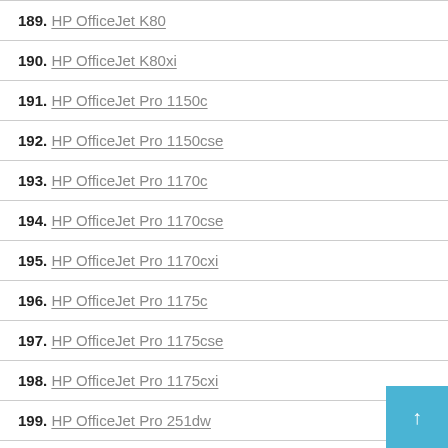189. HP OfficeJet K80
190. HP OfficeJet K80xi
191. HP OfficeJet Pro 1150c
192. HP OfficeJet Pro 1150cse
193. HP OfficeJet Pro 1170c
194. HP OfficeJet Pro 1170cse
195. HP OfficeJet Pro 1170cxi
196. HP OfficeJet Pro 1175c
197. HP OfficeJet Pro 1175cse
198. HP OfficeJet Pro 1175cxi
199. HP OfficeJet Pro 251dw
200. HP OfficeJet Pro 276dw